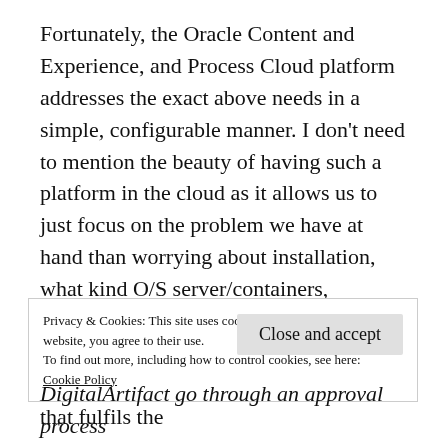Fortunately, the Oracle Content and Experience, and Process Cloud platform addresses the exact above needs in a simple, configurable manner. I don't need to mention the beauty of having such a platform in the cloud as it allows us to just focus on the problem we have at hand than worrying about installation, what kind O/S server/containers, technology skills, scalability, upgrades, etc. You can read more about Content & Experience and Process Cloud platform that fulfils the
Privacy & Cookies: This site uses cookies. By continuing to use this website, you agree to their use.
To find out more, including how to control cookies, see here:
Cookie Policy
Close and accept
DigitalArtifact go through an approval process